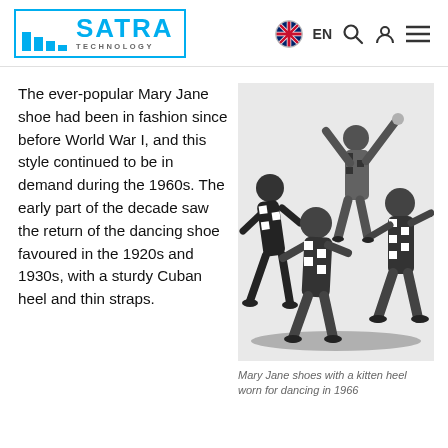SATRA TECHNOLOGY — EN [navigation icons]
The ever-popular Mary Jane shoe had been in fashion since before World War I, and this style continued to be in demand during the 1960s. The early part of the decade saw the return of the dancing shoe favoured in the 1920s and 1930s, with a sturdy Cuban heel and thin straps.
[Figure (photo): Black and white photograph of four young people dancing, wearing patterned black and white outfits and low-heeled shoes, taken in 1966.]
Mary Jane shoes with a kitten heel worn for dancing in 1966